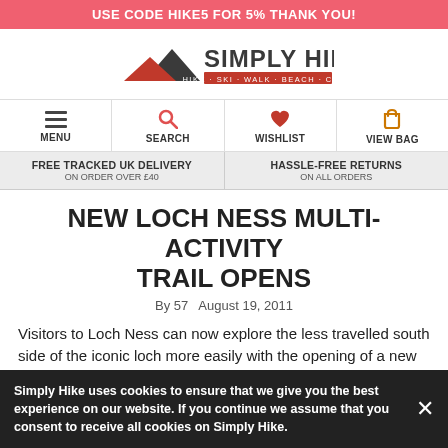USE CODE HIKE5 FOR 5% THANK YOU!
[Figure (logo): Simply Hike logo with mountain icon and tagline HIKE · SKI · WALK · BEACH · CAMP]
MENU  SEARCH  WISHLIST  VIEW BAG
FREE TRACKED UK DELIVERY ON ORDER OVER £40   HASSLE-FREE RETURNS ON ALL ORDERS
NEW LOCH NESS MULTI-ACTIVITY TRAIL OPENS
By 57   August 19, 2011
Visitors to Loch Ness can now explore the less travelled south side of the iconic loch more easily with the opening of a new 28 mile trail taking in the best the area
Simply Hike uses cookies to ensure that we give you the best experience on our website. If you continue we assume that you consent to receive all cookies on Simply Hike.